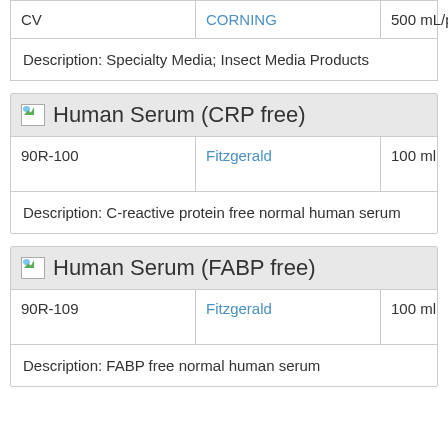| ID | Brand | Size | Price |
| --- | --- | --- | --- |
| CV | CORNING | 500 mL/pk | 124 |
Description: Specialty Media; Insect Media Products
Human Serum (CRP free)
| ID | Brand | Size | Price |
| --- | --- | --- | --- |
| 90R-100 | Fitzgerald | 100 ml | EUR 1105 |
Description: C-reactive protein free normal human serum
Human Serum (FABP free)
| ID | Brand | Size | Price |
| --- | --- | --- | --- |
| 90R-109 | Fitzgerald | 100 ml | EUR 1105 |
Description: FABP free normal human serum